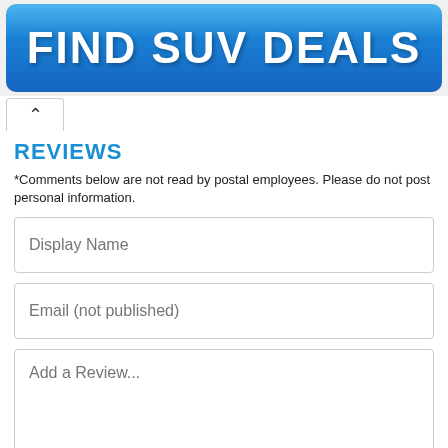[Figure (illustration): Blue gradient button with white bold text reading FIND SUV DEALS]
REVIEWS
*Comments below are not read by postal employees. Please do not post personal information.
[Figure (screenshot): Form with Display Name input field]
[Figure (screenshot): Form with Email (not published) input field]
[Figure (screenshot): Form textarea with Add a Review... placeholder]
[Figure (screenshot): CAPTCHA widget row at bottom]